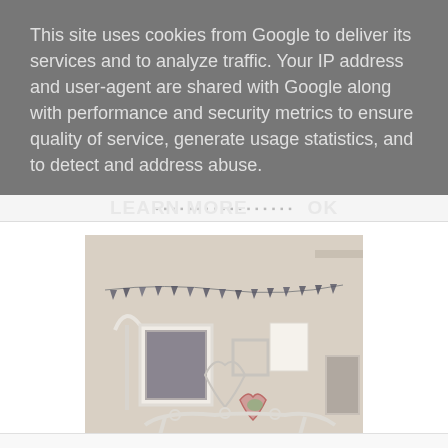This site uses cookies from Google to deliver its services and to analyze traffic. Your IP address and user-agent are shared with Google along with performance and security metrics to ensure quality of service, generate usage statistics, and to detect and address abuse.
LEARN MORE   OK
[Figure (photo): A bedroom wall decorated with hanging bunting/garland flags, framed photos, heart-shaped wire ornaments, and decorative items. A white metal bed frame is visible at the bottom. The image has a warm, vintage toned aesthetic.]